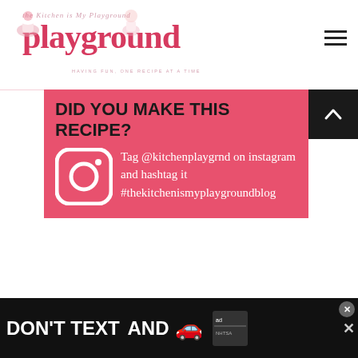[Figure (logo): The Kitchen is My Playground blog logo with pink 'playground' text and decorative cupcake/flower elements]
DID YOU MAKE THIS RECIPE?
Tag @kitchenplaygrnd on instagram and hashtag it #thekitchenismyplaygroundblog
Created using The Recipes Generator
[Figure (infographic): What's Next panel showing Pan Fried Pork Chops: Step... with a thumbnail food photo]
[Figure (screenshot): Ad banner: DON'T TEXT AND [car emoji] with NHTSA ad badge]